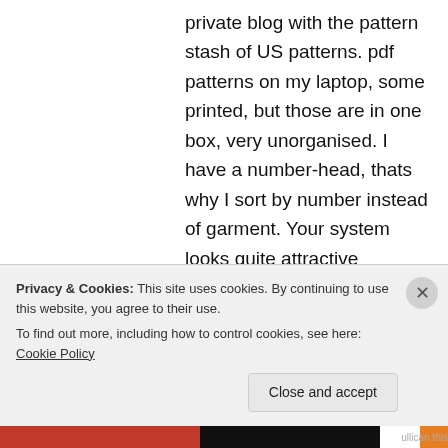private blog with the pattern stash of US patterns. pdf patterns on my laptop, some printed, but those are in one box, very unorganised. I have a number-head, thats why I sort by number instead of garment. Your system looks quite attractive though…
↳ Reply
meghamel on October 3, 2014 at 1:10 pm
FREE GOOGLE DRIVE…
Privacy & Cookies: This site uses cookies. By continuing to use this website, you agree to their use.
To find out more, including how to control cookies, see here: Cookie Policy
Close and accept